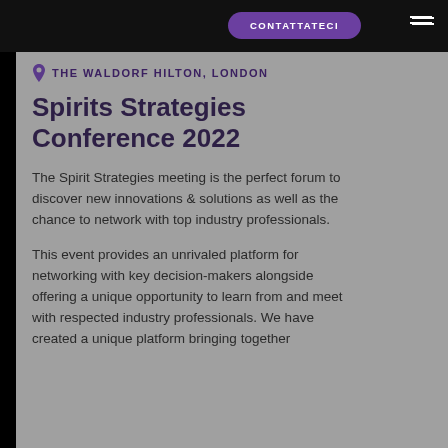CONTATTATECI
THE WALDORF HILTON, LONDON
Spirits Strategies Conference 2022
The Spirit Strategies meeting is the perfect forum to discover new innovations & solutions as well as the chance to network with top industry professionals.
This event provides an unrivaled platform for networking with key decision-makers alongside offering a unique opportunity to learn from and meet with respected industry professionals. We have created a unique platform bringing together